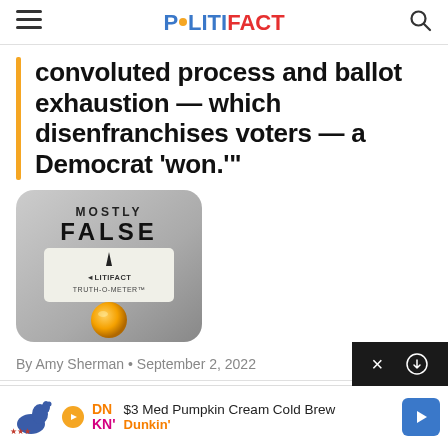POLITIFACT
convoluted process and ballot exhaustion — which disenfranchises voters — a Democrat 'won.'"
[Figure (illustration): PolitiFact Truth-O-Meter graphic showing 'MOSTLY FALSE' rating with an orange orb indicator]
By Amy Sherman • September 2, 2022
$3 Med Pumpkin Cream Cold Brew Dunkin'